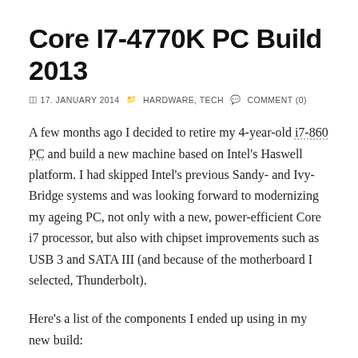Core I7-4770K PC Build 2013
17. JANUARY 2014   HARDWARE, TECH   COMMENT (0)
A few months ago I decided to retire my 4-year-old i7-860 PC and build a new machine based on Intel's Haswell platform. I had skipped Intel's previous Sandy- and Ivy-Bridge systems and was looking forward to modernizing my ageing PC, not only with a new, power-efficient Core i7 processor, but also with chipset improvements such as USB 3 and SATA III (and because of the motherboard I selected, Thunderbolt).
Here's a list of the components I ended up using in my new build: